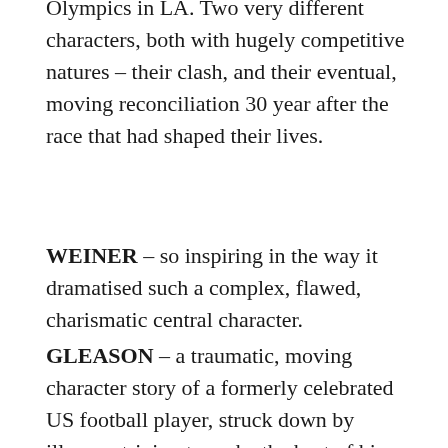Olympics in LA. Two very different characters, both with hugely competitive natures – their clash, and their eventual, moving reconciliation 30 year after the race that had shaped their lives.
WEINER – so inspiring in the way it dramatised such a complex, flawed, charismatic central character.
GLEASON – a traumatic, moving character story of a formerly celebrated US football player, struck down by illness, striving to make the best of his life. Will melt the hardest of hearts.